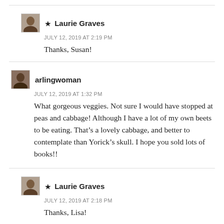★ Laurie Graves
JULY 12, 2019 AT 2:19 PM
Thanks, Susan!
arlingwoman
JULY 12, 2019 AT 1:32 PM
What gorgeous veggies. Not sure I would have stopped at peas and cabbage! Although I have a lot of my own beets to be eating. That's a lovely cabbage, and better to contemplate than Yorick's skull. I hope you sold lots of books!!
★ Laurie Graves
JULY 12, 2019 AT 2:18 PM
Thanks, Lisa!